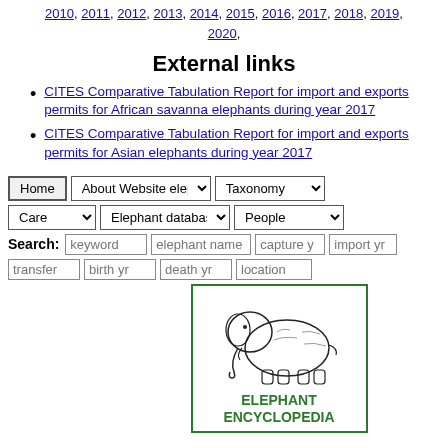2010, 2011, 2012, 2013, 2014, 2015, 2016, 2017, 2018, 2019, 2020,
External links
CITES Comparative Tabulation Report for import and exports permits for African savanna elephants during year 2017
CITES Comparative Tabulation Report for import and exports permits for Asian elephants during year 2017
[Figure (screenshot): Website navigation bar with Home button, About Website elephant.se dropdown, Taxonomy dropdown, Care dropdown, Elephant database dropdown, People dropdown, Search fields (keyword, elephant name, capture, import yr, transfer, birth yr, death yr, location), and Elephant Encyclopedia logo with elephant illustration]
[Figure (logo): Elephant Encyclopedia logo — black ink drawing of an elephant inside a green-bordered rectangle with text ELEPHANT ENCYCLOPEDIA in green]